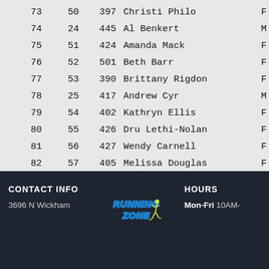| Place | Gender Place | Bib | Name | Gender |
| --- | --- | --- | --- | --- |
| 73 | 50 | 397 | Christi Philo | F |
| 74 | 24 | 445 | Al Benkert | M |
| 75 | 51 | 424 | Amanda Mack | F |
| 76 | 52 | 501 | Beth Barr | F |
| 77 | 53 | 390 | Brittany Rigdon | F |
| 78 | 25 | 417 | Andrew Cyr | M |
| 79 | 54 | 402 | Kathryn Ellis | F |
| 80 | 55 | 426 | Dru Lethi-Nolan | F |
| 81 | 56 | 427 | Wendy Carnell | F |
| 82 | 57 | 405 | Melissa Douglas | F |
CONTACT INFO | Running Zone logo | HOURS | 3696 N Wickham | Mon-Fri 10AM-